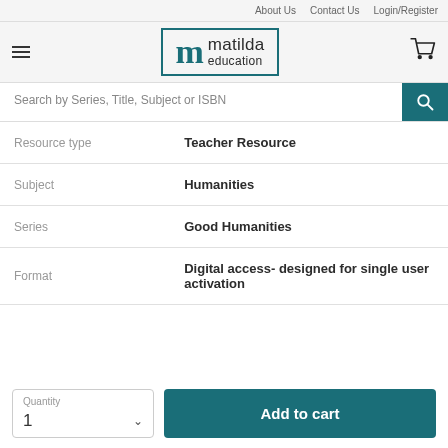About Us   Contact Us   Login/Register
[Figure (logo): Matilda Education logo with teal border, stylized 'm' and text 'matilda education']
Search by Series, Title, Subject or ISBN
| Resource type | Teacher Resource |
| Subject | Humanities |
| Series | Good Humanities |
| Format | Digital access- designed for single user activation |
Quantity 1
Add to cart